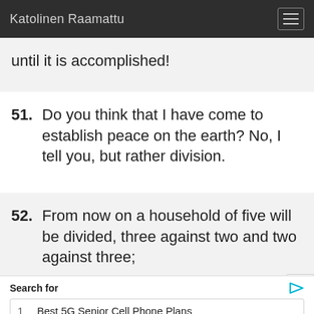Katolinen Raamattu
until it is accomplished!
51. Do you think that I have come to establish peace on the earth? No, I tell you, but rather division.
52. From now on a household of five will be divided, three against two and two against three;
Search for
1  Best 5G Senior Cell Phone Plans
2  Digital Signage Display Board
Yahoo! Search | Sponsored